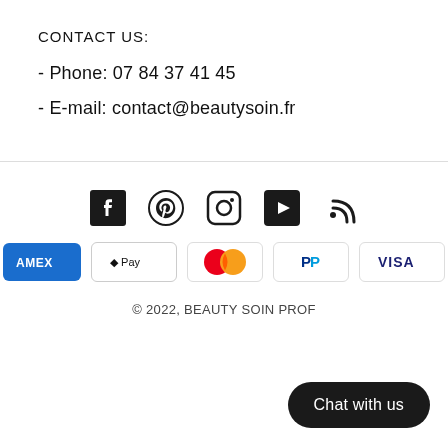CONTACT US:
- Phone: 07 84 37 41 45
- E-mail: contact@beautysoin.fr
[Figure (infographic): Social media icons: Facebook, Pinterest, Instagram, YouTube, RSS]
[Figure (infographic): Payment method icons: Amex, Apple Pay, Mastercard, PayPal, Visa]
© 2022, BEAUTY SOIN PROF
Chat with us